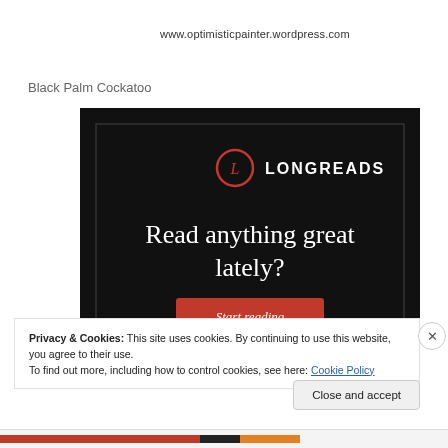www.optimisticpainter.wordpress.com
Black Palm Cockatoo
[Figure (screenshot): Longreads advertisement with dark background showing logo, text 'Read anything great lately?' and a red 'Start reading' button]
Privacy & Cookies: This site uses cookies. By continuing to use this website, you agree to their use.
To find out more, including how to control cookies, see here: Cookie Policy
Close and accept